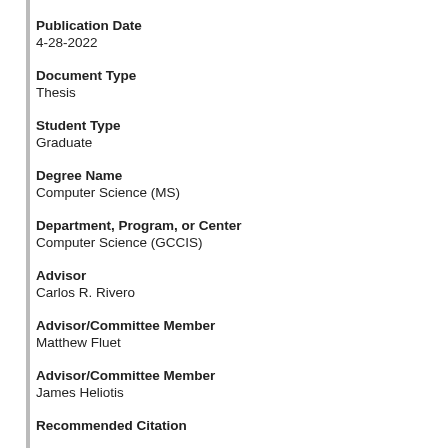Publication Date
4-28-2022
Document Type
Thesis
Student Type
Graduate
Degree Name
Computer Science (MS)
Department, Program, or Center
Computer Science (GCCIS)
Advisor
Carlos R. Rivero
Advisor/Committee Member
Matthew Fluet
Advisor/Committee Member
James Heliotis
Recommended Citation